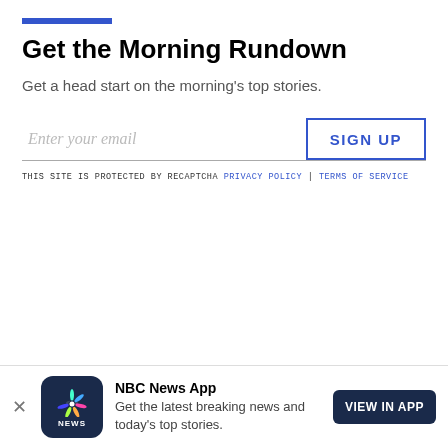Get the Morning Rundown
Get a head start on the morning's top stories.
[Figure (other): Email signup form with 'Enter your email' input field and 'SIGN UP' button, with reCAPTCHA disclaimer: 'THIS SITE IS PROTECTED BY RECAPTCHA PRIVACY POLICY | TERMS OF SERVICE']
[Figure (other): NBC News App banner at bottom: NBC News logo icon, text 'NBC News App - Get the latest breaking news and today's top stories.', and 'VIEW IN APP' button]